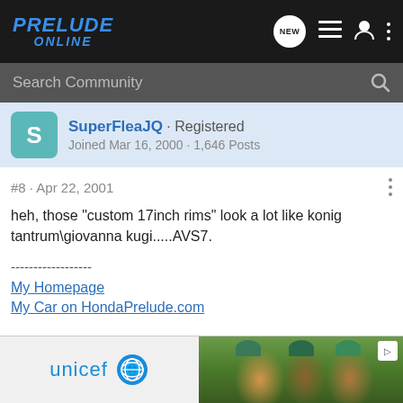PRELUDE ONLINE
Search Community
SuperFleaJQ · Registered
Joined Mar 16, 2000 · 1,646 Posts
#8 · Apr 22, 2001
heh, those "custom 17inch rims" look a lot like konig tantrum\giovanna kugi.....AVS7.
------------------
My Homepage
My Car on HondaPrelude.com
[Figure (screenshot): UNICEF advertisement banner with logo and photo of children]